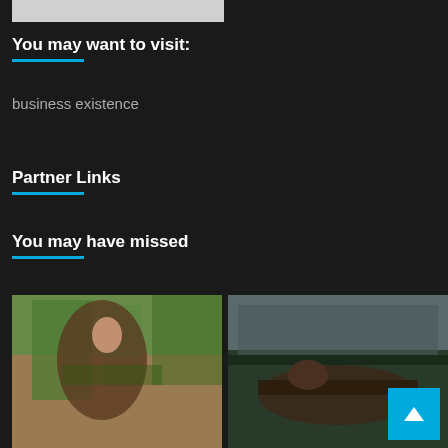[Figure (photo): Top partial image bar, gray/white]
You may want to visit:
business existence
Partner Links
You may have missed
[Figure (photo): Woman doing yoga stretch outdoors with trees in background]
[Figure (photo): Person doing push-ups outdoors on a court]